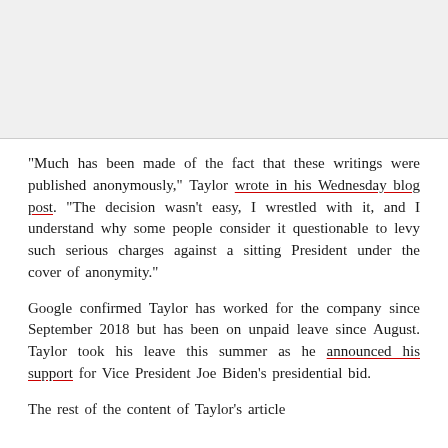[Figure (photo): Image placeholder at top of article page, light gray background]
"Much has been made of the fact that these writings were published anonymously," Taylor wrote in his Wednesday blog post. "The decision wasn't easy, I wrestled with it, and I understand why some people consider it questionable to levy such serious charges against a sitting President under the cover of anonymity."
Google confirmed Taylor has worked for the company since September 2018 but has been on unpaid leave since August. Taylor took his leave this summer as he announced his support for Vice President Joe Biden's presidential bid.
The rest of the content of Taylor's article...